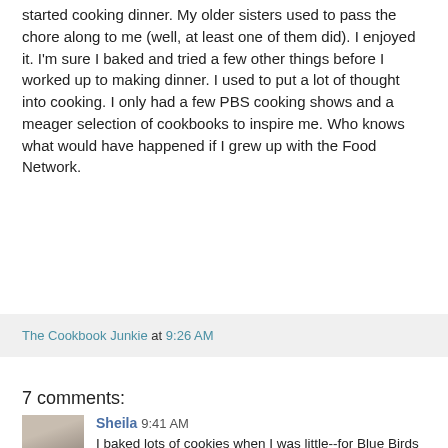started cooking dinner. My older sisters used to pass the chore along to me (well, at least one of them did). I enjoyed it. I'm sure I baked and tried a few other things before I worked up to making dinner. I used to put a lot of thought into cooking. I only had a few PBS cooking shows and a meager selection of cookbooks to inspire me. Who knows what would have happened if I grew up with the Food Network.
The Cookbook Junkie at 9:26 AM
7 comments:
Sheila 9:41 AM
I baked lots of cookies when I was little--for Blue Birds and Camp Fire Girls but the first meal I ever cooked on my own--no grown ups home--was fried chicken, mashed potatoes with gravy and corn. Too bad the chicken was really a hen and was so tough no one could eat it--although my dad did. I had no idea there were different "types" of chickens that